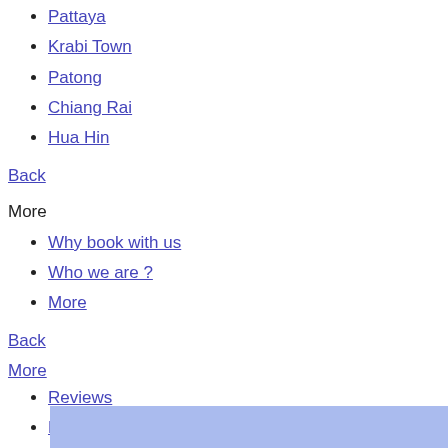Pattaya
Krabi Town
Patong
Chiang Rai
Hua Hin
Back
More
Why book with us
Who we are ?
More
Back
More
Reviews
News
Home
Blog